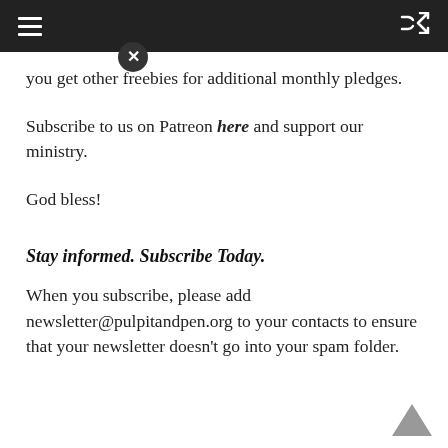you get other freebies for additional monthly pledges.
Subscribe to us on Patreon here and support our ministry.
God bless!
Stay informed. Subscribe Today.
When you subscribe, please add newsletter@pulpitandpen.org to your contacts to ensure that your newsletter doesn't go into your spam folder.